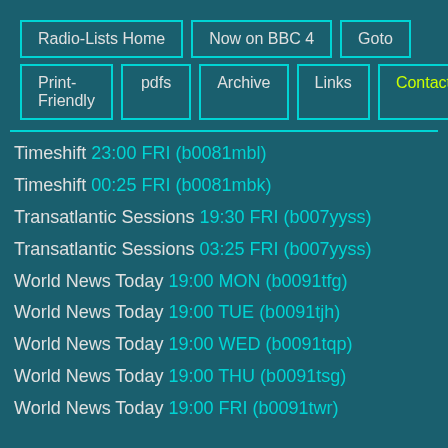Radio-Lists Home | Now on BBC 4 | Goto | Print-Friendly | pdfs | Archive | Links | Contact
Timeshift 23:00 FRI (b0081mbl)
Timeshift 00:25 FRI (b0081mbk)
Transatlantic Sessions 19:30 FRI (b007yyss)
Transatlantic Sessions 03:25 FRI (b007yyss)
World News Today 19:00 MON (b0091tfg)
World News Today 19:00 TUE (b0091tjh)
World News Today 19:00 WED (b0091tqp)
World News Today 19:00 THU (b0091tsg)
World News Today 19:00 FRI (b0091twr)